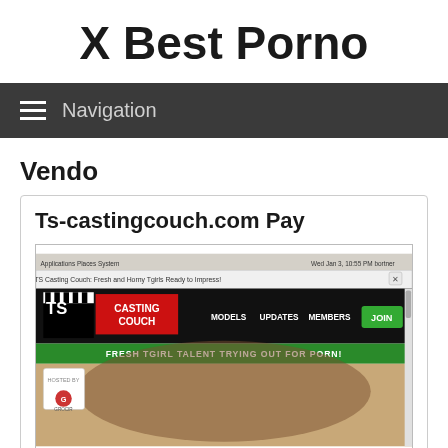X Best Porno
Navigation
Vendo
Ts-castingcouch.com Pay
[Figure (screenshot): Screenshot of TS Casting Couch website showing header with MODELS, UPDATES, MEMBERS, JOIN navigation, green banner reading FRESH TGIRL TALENT TRYING OUT FOR PORN!, and a photo of a person lying on a couch]